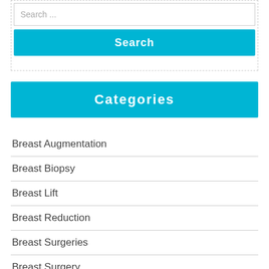Search ...
Search
Categories
Breast Augmentation
Breast Biopsy
Breast Lift
Breast Reduction
Breast Surgeries
Breast Surgery